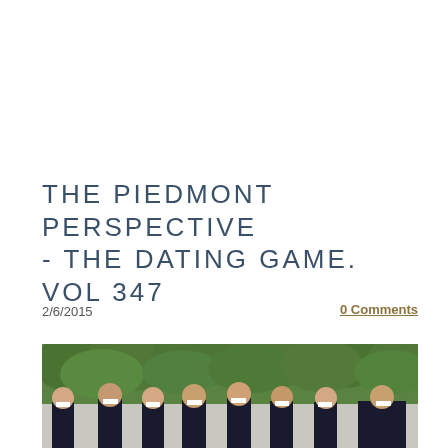THE PIEDMONT PERSPECTIVE - THE DATING GAME. VOL 347
2/6/2015
0 Comments
[Figure (photo): Group photo of approximately eight young men in dark formal suits/tuxedos with bow ties, standing outdoors in front of green leafy trees/hedges.]